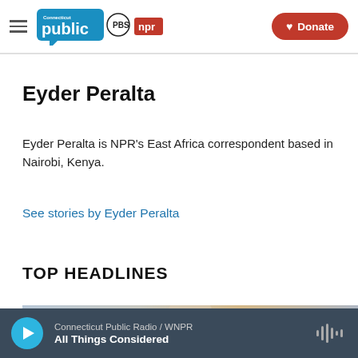Connecticut Public | PBS | NPR — Donate
Eyder Peralta
Eyder Peralta is NPR's East Africa correspondent based in Nairobi, Kenya.
See stories by Eyder Peralta
TOP HEADLINES
[Figure (photo): News article thumbnail image at the bottom of the page]
Connecticut Public Radio / WNPR — All Things Considered